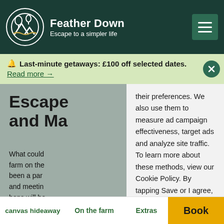Feather Down — Escape to a simpler life
Last-minute getaways: £100 off selected dates. Read more →
their preferences. We also use them to measure ad campaign effectiveness, target ads and analyze site traffic. To learn more about these methods, view our Cookie Policy. By tapping Save or I agree, you consent to the use of these methods by us and third parties.
Escape and Ma
What could farm on the been a par and meeting hens will be son Henry lo
canvas hideaway   On the farm   Extras   Book